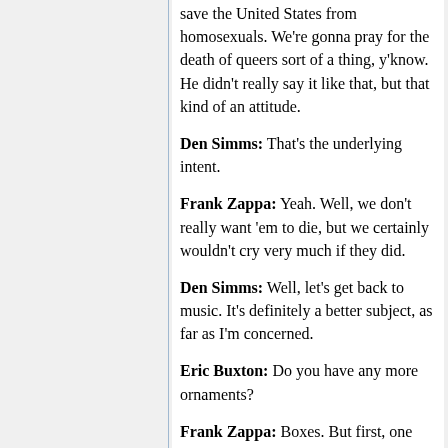save the United States from homosexuals. We're gonna pray for the death of queers sort of a thing, y'know. He didn't really say it like that, but that kind of an attitude.
Den Simms: That's the underlying intent.
Frank Zappa: Yeah. Well, we don't really want 'em to die, but we certainly wouldn't cry very much if they did.
Den Simms: Well, let's get back to music. It's definitely a better subject, as far as I'm concerned.
Eric Buxton: Do you have any more ornaments?
Frank Zappa: Boxes. But first, one should turn on the lights to see whether or not they actually work.
Eric Buxton: Where's the plug?